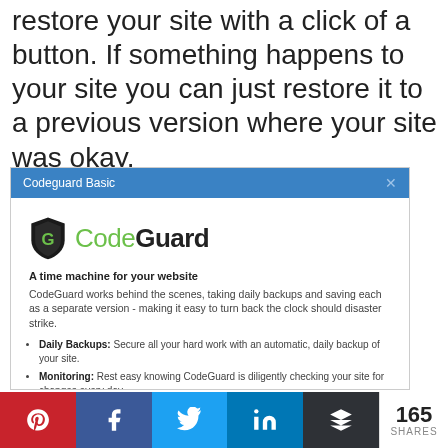restore your site with a click of a button. If something happens to your site you can just restore it to a previous version where your site was okay.
[Figure (screenshot): Screenshot of CodeGuard Basic panel showing the CodeGuard logo, tagline 'A time machine for your website', description text, and bullet points for Daily Backups, Monitoring, and One-Click Restore.]
Pinterest, Facebook, Twitter, LinkedIn, Buffer share buttons. 165 SHARES